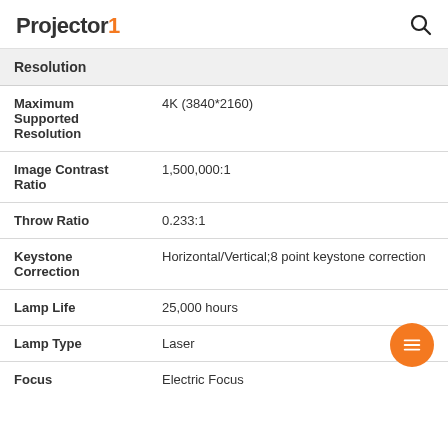Projector1
| Resolution |
| --- |
| Maximum Supported Resolution | 4K (3840*2160) |
| Image Contrast Ratio | 1,500,000:1 |
| Throw Ratio | 0.233:1 |
| Keystone Correction | Horizontal/Vertical;8 point keystone correction |
| Lamp Life | 25,000 hours |
| Lamp Type | Laser |
| Focus | Electric Focus |